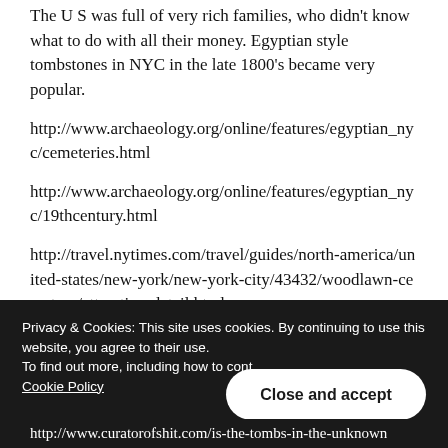The U S was full of very rich families, who didn't know what to do with all their money. Egyptian style tombstones in NYC in the late 1800's became very popular.
http://www.archaeology.org/online/features/egyptian_nyc/cemeteries.html
http://www.archaeology.org/online/features/egyptian_nyc/19thcentury.html
http://travel.nytimes.com/travel/guides/north-america/united-states/new-york/new-york-city/43432/woodlawn-cemetery/attraction-detail.html
And it wasn't just in the U S.
Privacy & Cookies: This site uses cookies. By continuing to use this website, you agree to their use.
To find out more, including how to control cookies, see here: Cookie Policy
Close and accept
http://www.curatorofshit.com/is-the-tombs-in-the-unknown